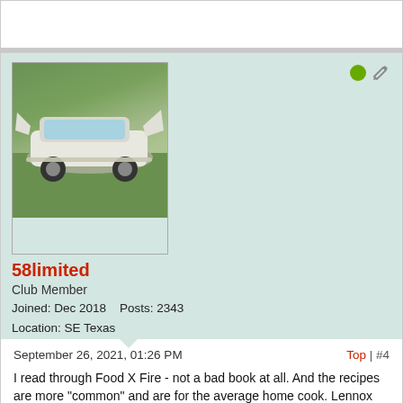[Figure (photo): Avatar image showing a vintage 1958 Buick Limited car, white, from the rear, parked on grass]
58limited
Club Member
Joined: Dec 2018    Posts: 2343
Location: SE Texas
September 26, 2021, 01:26 PM    Top | #4
I read through Food X Fire - not a bad book at all. And the recipes are more "common" and are for the average home cook. Lennox Hastie's 'Finding Fire' is a great book too but his recipes deal with "fancier" things like caviar, baby squid, 200 day dry aged steaks, etc. Some of his ingredients may be common in Oz where he is located but are hard to find around here.

Used as a guide, both books teach techniques you can use to cook anything you want to over fire, regardless of the